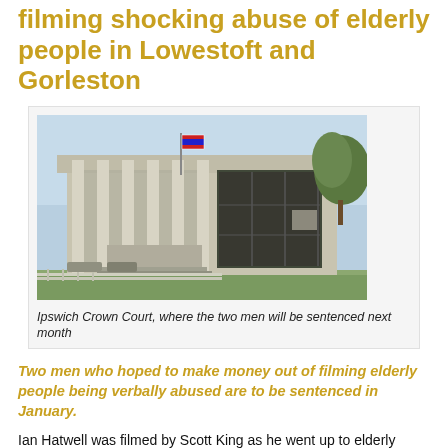filming shocking abuse of elderly people in Lowestoft and Gorleston
[Figure (photo): Exterior photograph of Ipswich Crown Court, a modern building with large windows and columns, with a flag visible and trees in the background]
Ipswich Crown Court, where the two men will be sentenced next month
Two men who hoped to make money out of filming elderly people being verbally abused are to be sentenced in January.
Ian Hatwell was filmed by Scott King as he went up to elderly